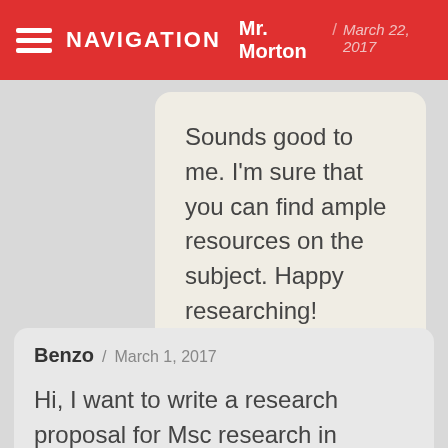NAVIGATION / Mr. Morton / March 22, 2017
Sounds good to me. I'm sure that you can find ample resources on the subject. Happy researching!
Benzo / March 1, 2017
Hi, I want to write a research proposal for Msc research in Operations research. Please I need someone to help me with a good topic. Just the topic!